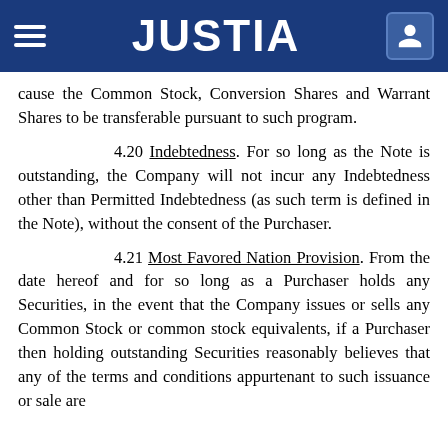JUSTIA
cause the Common Stock, Conversion Shares and Warrant Shares to be transferable pursuant to such program.
4.20 Indebtedness. For so long as the Note is outstanding, the Company will not incur any Indebtedness other than Permitted Indebtedness (as such term is defined in the Note), without the consent of the Purchaser.
4.21 Most Favored Nation Provision. From the date hereof and for so long as a Purchaser holds any Securities, in the event that the Company issues or sells any Common Stock or common stock equivalents, if a Purchaser then holding outstanding Securities reasonably believes that any of the terms and conditions appurtenant to such issuance or sale are